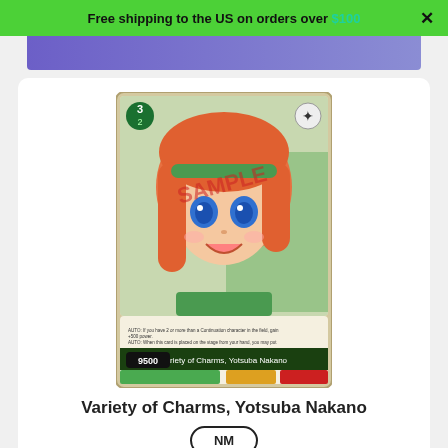Free shipping to the US on orders over $100
[Figure (illustration): Weiss Schwarz trading card featuring anime character Yotsuba Nakano with orange hair and green outfit, labeled SAMPLE, with card stats showing 9500 power. Card name: Variety of Charms, Yotsuba Nakano.]
Variety of Charms, Yotsuba Nakano
NM
$3.25 USD